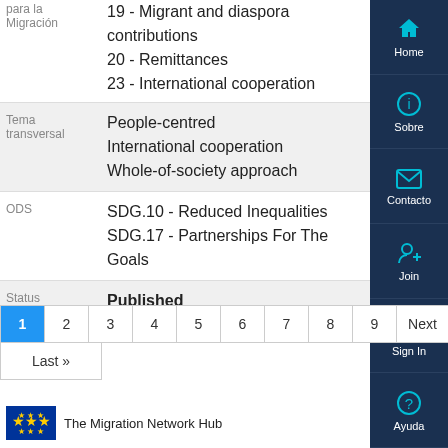| Label | Values |
| --- | --- |
| para la Migración | 19 - Migrant and diaspora contributions
20 - Remittances
23 - International cooperation |
| Tema transversal | People-centred
International cooperation
Whole-of-society approach |
| ODS | SDG.10 - Reduced Inequalities
SDG.17 - Partnerships For The Goals |
| Status | Published |
1
2
3
4
5
6
7
8
9
Next
Last »
The Migration Network Hub